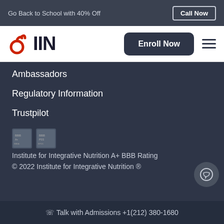Go Back to School with 40% Off  Call Now
[Figure (logo): IIN (Institute for Integrative Nutrition) logo with red spiral icon and bold IIN text]
Enroll Now
Ambassadors
Regulatory Information
Trustpilot
[Figure (other): BBB A+ rating badges - BBBA and BPSS placeholder images]
Institute for Integrative Nutrition A+ BBB Rating
© 2022 Institute for Integrative Nutrition ®
Talk with Admissions +1(212) 380-1680